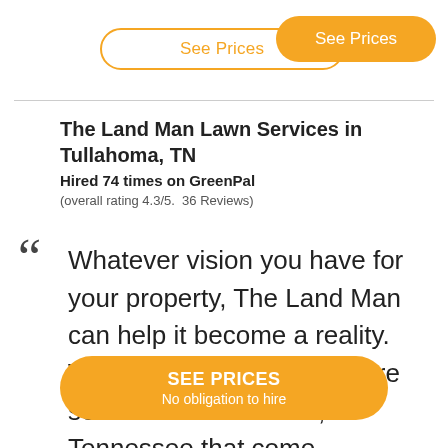[Figure (other): Outline button with orange text 'See Prices' and filled orange button 'See Prices' overlapping at top of page]
The Land Man Lawn Services in Tullahoma, TN
Hired 74 times on GreenPal
(overall rating 4.3/5.  36 Reviews)
Whatever vision you have for your property, The Land Man can help it become a reality. We provide quality lawn care services in Tullahoma, Tennessee that come
[Figure (other): Orange CTA button reading 'SEE PRICES / No obligation to hire']